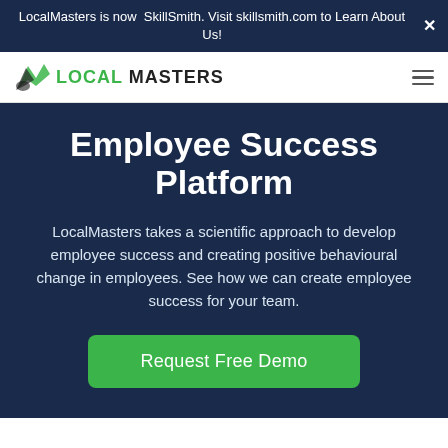LocalMasters is now  SkillSmith. Visit skillsmith.com to Learn About Us!
[Figure (logo): LocalMasters logo with green bird/wing icon and text LOCAL MASTERS in bold uppercase]
Employee Success Platform
LocalMasters takes a scientific approach to develop employee success and creating positive behavioural change in employees. See how we can create employee success for your team.
Request Free Demo